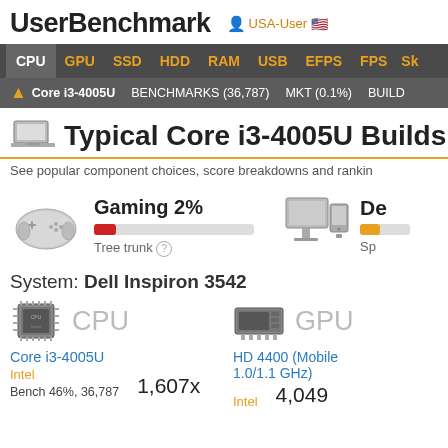UserBenchmark  USA-User
CPU  GPU  SSD  HDD  RAM  USB  EFPS  FPS  SK
Core i3-4005U  BENCHMARKS (36,787)  MKT (0.1%)  BUILD
Typical Core i3-4005U Builds (Co
See popular component choices, score breakdowns and rankin
[Figure (infographic): Gaming 2% with red progress bar showing Tree trunk rating, and Desktop icon partially visible on the right]
System: Dell Inspiron 3542
CPU  Core i3-4005U  Intel  Bench 46%, 36,787  1,607x
GPU  HD 4400 (Mobile 1.0/1.1 GHz)  Intel  4,049